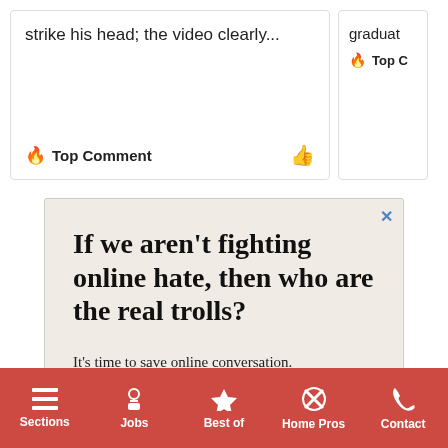strike his head; the video clearly...
Top Comment
graduat
Top C
[Figure (infographic): Advertisement banner with text: 'If we aren't fighting online hate, then who are the real trolls? It's time to save online conversation. Learn more' with OpenWeb logo]
AdChoices
Sponsored
Sections | Jobs | Best of | Home Pros | Contact